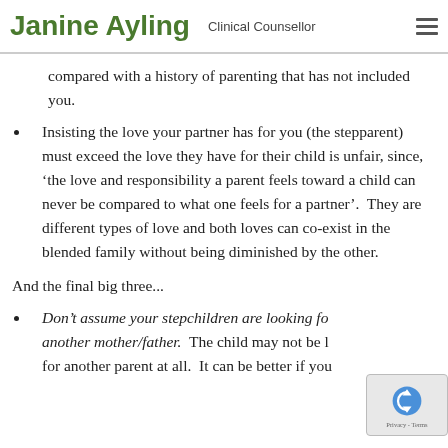Janine Ayling  Clinical Counsellor
compared with a history of parenting that has not included you.
Insisting the love your partner has for you (the stepparent) must exceed the love they have for their child is unfair, since, ‘the love and responsibility a parent feels toward a child can never be compared to what one feels for a partner’.  They are different types of love and both loves can co-exist in the blended family without being diminished by the other.
And the final big three...
Don’t assume your stepchildren are looking for another mother/father.  The child may not be looking for another parent at all.  It can be better if you...